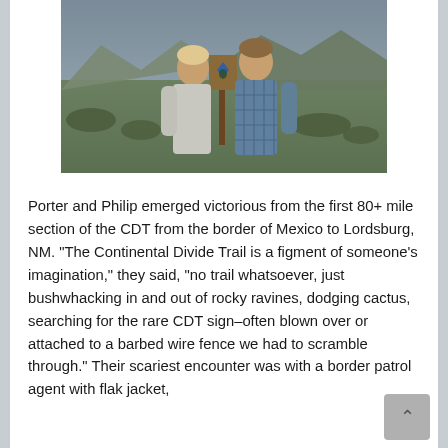[Figure (photo): Two people standing outdoors posing for a photo near a trail marker sign, with mountains and desert landscape in the background.]
Porter and Philip emerged victorious from the first 80+ mile section of the CDT from the border of Mexico to Lordsburg, NM. “The Continental Divide Trail is a figment of someone’s imagination,” they said, “no trail whatsoever, just bushwhacking in and out of rocky ravines, dodging cactus, searching for the rare CDT sign–often blown over or attached to a barbed wire fence we had to scramble through.” Their scariest encounter was with a border patrol agent with flak jacket,